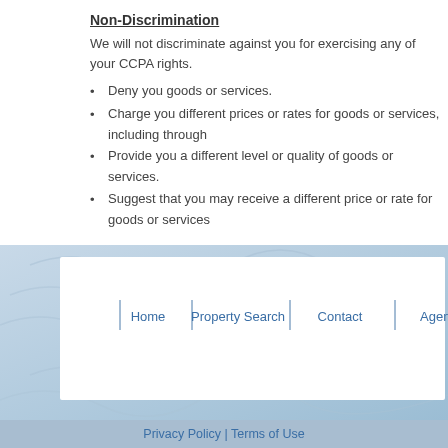Non-Discrimination
We will not discriminate against you for exercising any of your CCPA rights.
Deny you goods or services.
Charge you different prices or rates for goods or services, including through
Provide you a different level or quality of goods or services.
Suggest that you may receive a different price or rate for goods or services
Other California Privacy Rights
California's "Shine the Light" law (Civil Code Section § 1798.83) permits use of personal information to third parties for their direct marketing purposes. T
[Figure (other): Website footer navigation box with blue watermark background, white inner panel, navigation links: Home, Property Search, Contact, Agent Lo]
Privacy Policy | Terms of Use